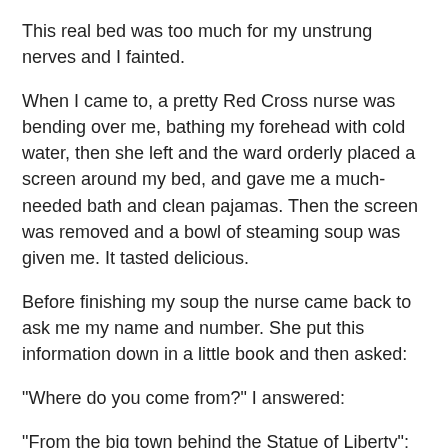This real bed was too much for my unstrung nerves and I fainted.
When I came to, a pretty Red Cross nurse was bending over me, bathing my forehead with cold water, then she left and the ward orderly placed a screen around my bed, and gave me a much-needed bath and clean pajamas. Then the screen was removed and a bowl of steaming soup was given me. It tasted delicious.
Before finishing my soup the nurse came back to ask me my name and number. She put this information down in a little book and then asked:
"Where do you come from?" I answered:
"From the big town behind the Statue of Liberty"; upon hearing this she started jumping up and down, clapping her hands, and calling out to three nurses across the ward:
"Come here, girls—at last we have got a real live Yankee with us."